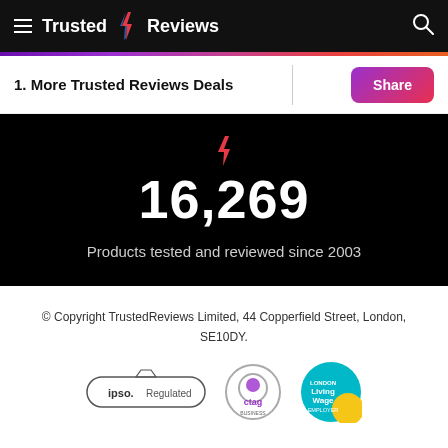Trusted Reviews
1. More Trusted Reviews Deals
[Figure (infographic): Black background stats block showing '16,269 Products tested and reviewed since 2003' with a red lightning bolt icon above the number]
© Copyright TrustedReviews Limited, 44 Copperfield Street, London, SE10DY.
[Figure (logo): Three logos: IPSO Regulated, CTAG (circular logo), and Living Wage Employer (teal/yellow circular logo)]